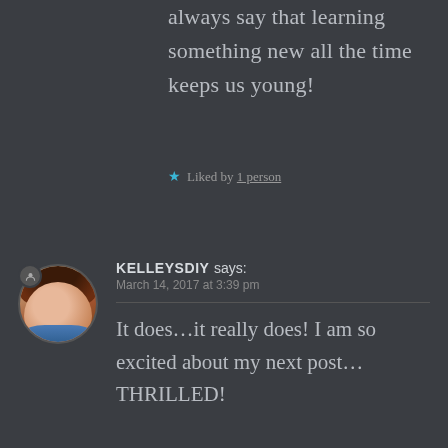always say that learning something new all the time keeps us young!
Liked by 1 person
[Figure (photo): Circular avatar photo of a woman with red/brown hair, wearing a blue top. Small user badge icon in top-left of circle.]
KELLEYSDIY says: March 14, 2017 at 3:39 pm
It does...it really does! I am so excited about my next post... THRILLED!